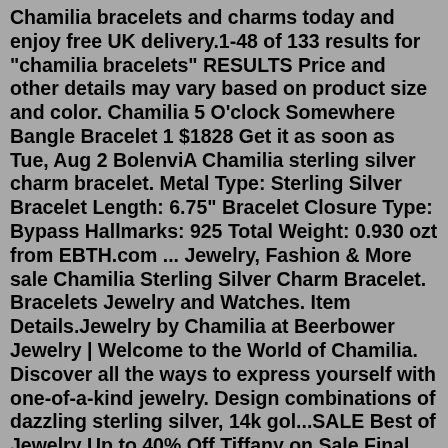Chamilia bracelets and charms today and enjoy free UK delivery.1-48 of 133 results for "chamilia bracelets" RESULTS Price and other details may vary based on product size and color. Chamilia 5 O'clock Somewhere Bangle Bracelet 1 $1828 Get it as soon as Tue, Aug 2 BolenviA Chamilia sterling silver charm bracelet. Metal Type: Sterling Silver Bracelet Length: 6.75" Bracelet Closure Type: Bypass Hallmarks: 925 Total Weight: 0.930 ozt from EBTH.com ... Jewelry, Fashion & More sale Chamilia Sterling Silver Charm Bracelet. Bracelets Jewelry and Watches. Item Details.Jewelry by Chamilia at Beerbower Jewelry | Welcome to the World of Chamilia. Discover all the ways to express yourself with one-of-a-kind jewelry. Design combinations of dazzling sterling silver, 14k gol...SALE Best of Jewelry Up to 40% Off Tiffany on Sale Final Markdowns Shop All Sale > ... Chamilia 14K Charm Bracelet. $820.00. 20% Off. Now 20% off - $820.00. ON HOLD for . Jewelry for sale. Rings, chains, bracelets, watches, earrings in Lacombe, LAThis